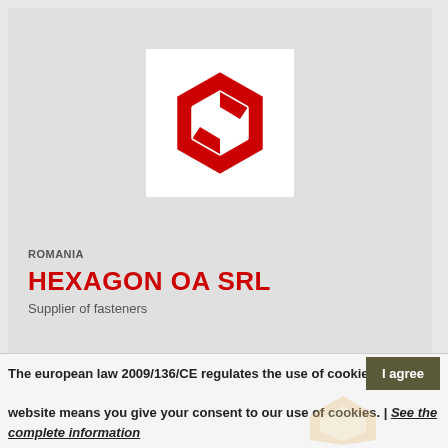[Figure (logo): Hexagon OA SRL red hexagonal logo with interlocking C-shaped forms on white background]
ROMANIA
HEXAGON OA SRL
Supplier of fasteners
The european law 2009/136/CE regulates the use of cookies. Using our website means you give your consent to our use of cookies. | See the complete information